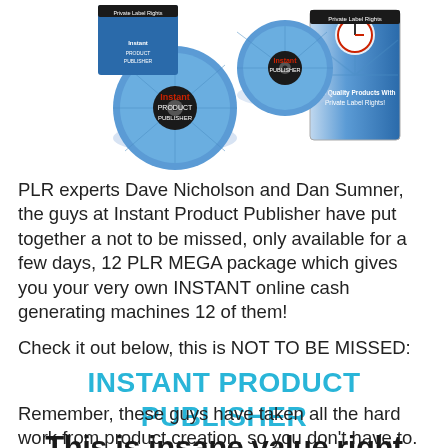[Figure (photo): Product image showing blue CDs/DVDs and box packaging for Instant Product Publisher, labeled with 'Private Label Rights' and 'Top Quality Products With Private Label Rights']
PLR experts Dave Nicholson and Dan Sumner, the guys at Instant Product Publisher have put together a not to be missed, only available for a few days, 12 PLR MEGA package which gives you your very own INSTANT online cash generating machines 12 of them!
Check it out below, this is NOT TO BE MISSED:
INSTANT PRODUCT PUBLISHER
Remember, these guys have taken all the hard work from product creation, so you don't have to.
This is insane value right